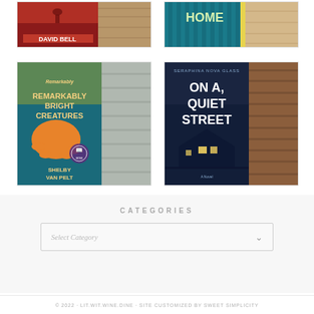[Figure (photo): Book cover: David Bell novel with dark red/orange background showing a figure, title partially visible with 'DAVID BELL' author name at bottom, displayed alongside a wood grain background panel]
[Figure (photo): Book cover: novel with 'HOME' visible in large letters on teal/blue striped background with yellow spine, displayed alongside a light wood grain background panel]
[Figure (photo): Book cover: 'Remarkably Bright Creatures' by Shelby Van Pelt, featuring an orange octopus on blue/teal background, with a Book of the Month seal, displayed alongside a grey wood panel]
[Figure (photo): Book cover: 'On a Quiet Street' by Seraphina Nova Glass, dark navy/blue cover showing a house with lit windows at night, displayed alongside a brown wood grain panel]
CATEGORIES
Select Category
© 2022 · LIT.WIT.WINE.DINE · SITE CUSTOMIZED BY SWEET SIMPLICITY